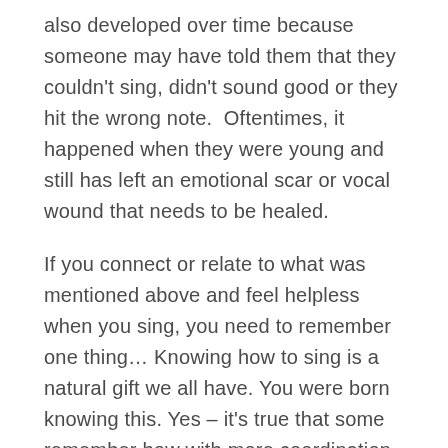also developed over time because someone may have told them that they couldn't sing, didn't sound good or they hit the wrong note.  Oftentimes, it happened when they were young and still has left an emotional scar or vocal wound that needs to be healed.
If you connect or relate to what was mentioned above and feel helpless when you sing, you need to remember one thing… Knowing how to sing is a natural gift we all have. You were born knowing this. Yes – it's true that some remember how with more coordination and power than others, but when you let go and just sing, you can indeed open the door to finding your CORE voice: that authentic voice inside you that just knows .